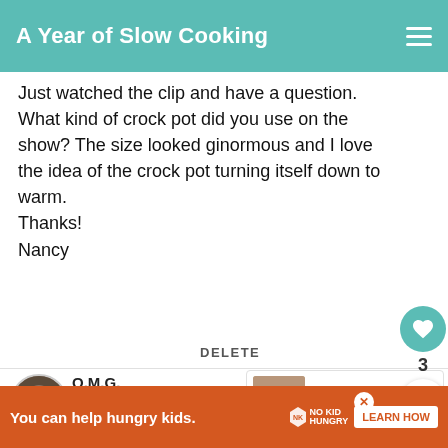A Year of Slow Cooking
Just watched the clip and have a question. What kind of crock pot did you use on the show? The size looked ginormous and I love the idea of the crock pot turning itself down to warm.
Thanks!
Nancy
DELETE
[Figure (other): Heart/like button (teal circle with heart icon), count '3', and share button]
[Figure (other): User avatar - circular profile photo]
O.M.G.
10/25/2009
i got your cookbook at barnes & noble, flipped
[Figure (other): WHAT'S NEXT thumbnail with label 'Find a recipe']
You can help hungry kids.
[Figure (logo): No Kid Hungry logo]
LEARN HOW